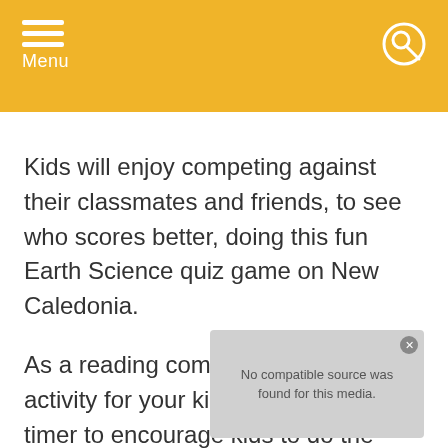Menu
Kids will enjoy competing against their classmates and friends, to see who scores better, doing this fun Earth Science quiz game on New Caledonia.
As a reading comprehension fun activity for your kids, you can set a timer to encourage kids to do the reading comprehension training in a faster way, or
[Figure (screenshot): Video player overlay showing 'No compatible source was found for this media.' error message with close button]